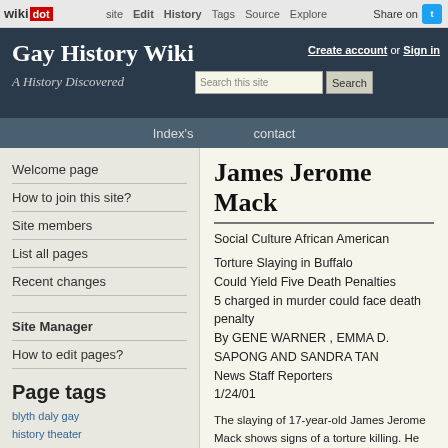wikidot | site | Edit | History | Tags | Source | Explore | Share on [Twitter]
Gay History Wiki
A History Discovered
Index's    contact
Welcome page
How to join this site?
Site members
List all pages
Recent changes
Site Manager
How to edit pages?
Page tags
blyth  daly  gay  history  theater
James Jerome Mack
Social Culture African American
Torture Slaying in Buffalo
Could Yield Five Death Penalties
5 charged in murder could face death penalty
By GENE WARNER , EMMA D. SAPONG AND SANDRA TAN
News Staff Reporters
1/24/01
The slaying of 17-year-old James Jerome Mack shows signs of a torture killing. He was beaten with bottles and blunt objects. He was stabbed. He was strangled with an electrical cord. He was sexually assaulted with a broom handle. He then was placed face-down for a couple of hours in a bathtub filled with water, while those charged with his killing played cards and watched television in a North Pearl Street apartment. Then his body was tossed in a trash container, wheeled next to a dumpster and set